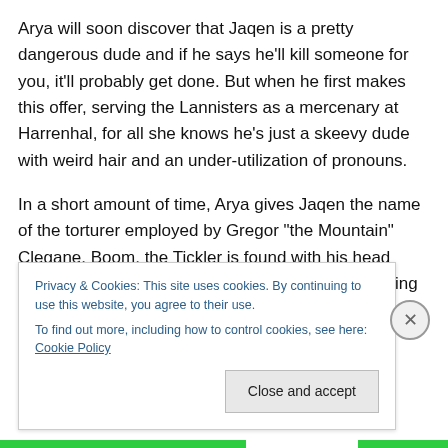Arya will soon discover that Jaqen is a pretty dangerous dude and if he says he'll kill someone for you, it'll probably get done. But when he first makes this offer, serving the Lannisters as a mercenary at Harrenhal, for all she knows he's just a skeevy dude with weird hair and an under-utilization of pronouns.
In a short amount of time, Arya gives Jaqen the name of the torturer employed by Gregor “the Mountain” Clegane. Boom, the Tickler is found with his head looking the wrong way. (Book readers, I’m just talking the show here. Don’t
Privacy & Cookies: This site uses cookies. By continuing to use this website, you agree to their use.
To find out more, including how to control cookies, see here: Cookie Policy
Close and accept